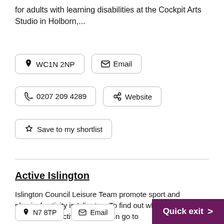for adults with learning disabilities at the Cockpit Arts Studio in Holborn,...
📍 WC1N 2NP
✉ Email
📞 0207 209 4289
🔗 Website
☆ Save to my shortlist
Active Islington
Islington Council Leisure Team promote sport and physical activity in Islington. To find out where to do sport and physical activity in Islington go to
📍 N7 8TP
✉ Email